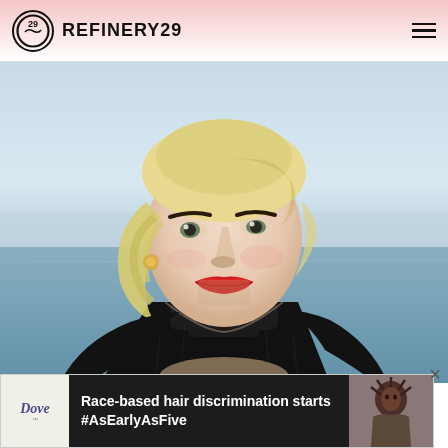REFINERY29
[Figure (photo): Portrait of a blonde woman with short wavy hair, wearing a black turtleneck sweater and bold red lipstick, photographed outdoors near water on a bright day.]
[Figure (other): Close X button overlay on right side]
[Figure (other): Dove advertisement banner: Race-based hair discrimination starts #AsEarlyAsFive, with image of woman with braids]